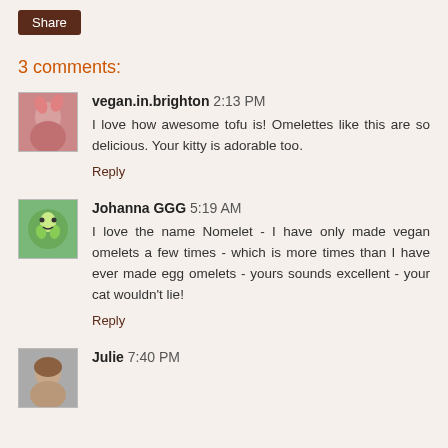Share
3 comments:
vegan.in.brighton 2:13 PM
I love how awesome tofu is! Omelettes like this are so delicious. Your kitty is adorable too.
Reply
Johanna GGG 5:19 AM
I love the name Nomelet - I have only made vegan omelets a few times - which is more times than I have ever made egg omelets - yours sounds excellent - your cat wouldn't lie!
Reply
Julie 7:40 PM